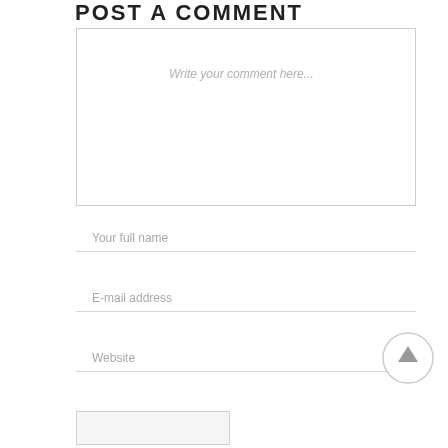POST A COMMENT
Write your comment here...
Your full name
E-mail address
Website
[Figure (other): Circular up-arrow button (scroll to top)]
[Figure (other): Submit button area at the bottom]